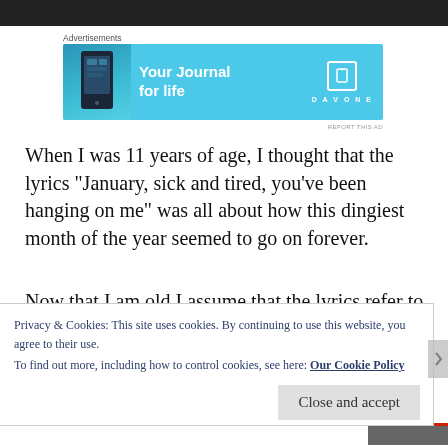[Figure (screenshot): Top dark image bar at top of page]
Advertisements
[Figure (illustration): Advertisement banner for DayOne app - Your Journal for life, cyan/teal background with phone graphic and book icon logo]
When I was 11 years of age, I thought that the lyrics “January, sick and tired, you’ve been hanging on me” was all about how this dingiest month of the year seemed to go on forever.
Now that I am old I assume that the lyrics refer to a woman, but I still don’t fully understand
Privacy & Cookies: This site uses cookies. By continuing to use this website, you agree to their use.
To find out more, including how to control cookies, see here: Our Cookie Policy
Close and accept